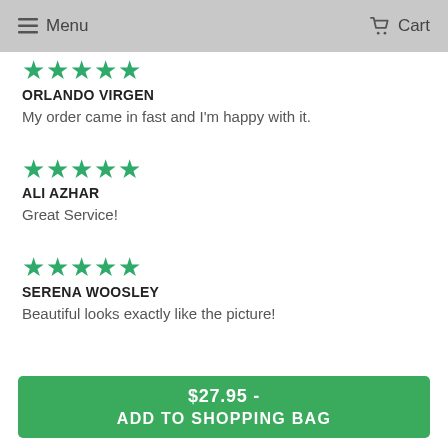Menu  Cart
★★★★★
ORLANDO VIRGEN
My order came in fast and I'm happy with it.
★★★★★
ALI AZHAR
Great Service!
★★★★★
SERENA WOOSLEY
Beautiful looks exactly like the picture!
$27.95 - ADD TO SHOPPING BAG